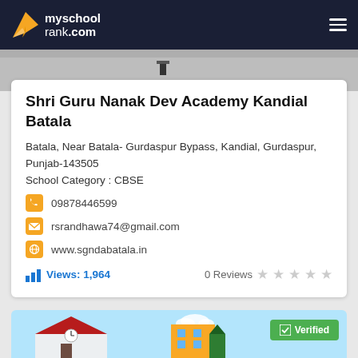myschoolrank.com
Shri Guru Nanak Dev Academy Kandial Batala
Batala, Near Batala- Gurdaspur Bypass, Kandial, Gurdaspur, Punjab-143505
School Category : CBSE
09878446599
rsrandhawa74@gmail.com
www.sgndabatala.in
Views: 1,964   0 Reviews
[Figure (illustration): Bottom illustration of school buildings with verified badge]